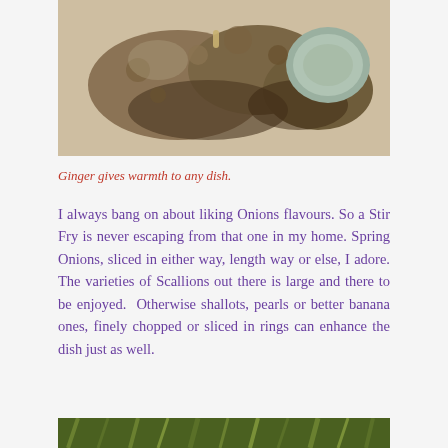[Figure (photo): Close-up photograph of fresh ginger root on a light wooden surface, showing the knobby tan/brown exterior and a cross-section revealing pale interior]
Ginger gives warmth to any dish.
I always bang on about liking Onions flavours. So a Stir Fry is never escaping from that one in my home. Spring Onions, sliced in either way, length way or else, I adore. The varieties of Scallions out there is large and there to be enjoyed.  Otherwise shallots, pearls or better banana ones, finely chopped or sliced in rings can enhance the dish just as well.
[Figure (photo): Partial photograph showing green plant stems/shoots at the bottom of the page, likely spring onions or scallions]